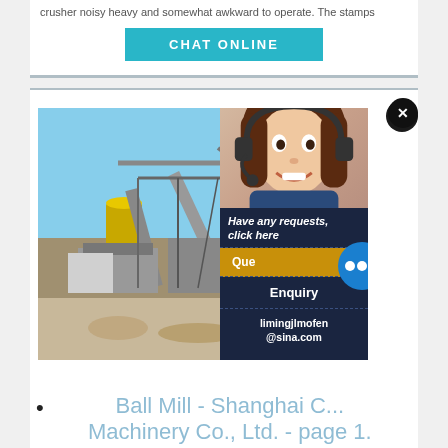crusher noisy heavy and somewhat awkward to operate. The stamps
[Figure (screenshot): Teal/blue CHAT ONLINE button on white background]
[Figure (photo): Industrial mining or crushing plant with yellow machinery, conveyors, and equipment under a blue sky. A chat overlay panel appears on the right side showing a smiling female customer service agent wearing a headset, with text 'Have any requests, click here', a Quote button, chat bubble icon, Enquiry link, and email limingjlmofen@sina.com]
Ball Mill - Shanghai C... Machinery Co., Ltd. - page 1.